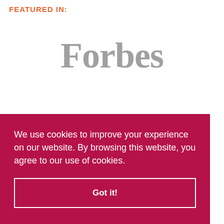FEATURED IN:
[Figure (logo): Forbes logo in gray serif font]
[Figure (logo): dw logo in light gray italic serif font]
We use cookies to improve your experience on our website. By browsing this website, you agree to our use of cookies.
Got it!